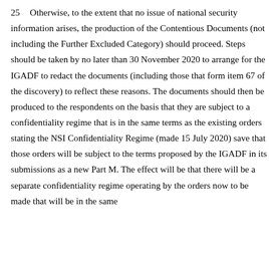25    Otherwise, to the extent that no issue of national security information arises, the production of the Contentious Documents (not including the Further Excluded Category) should proceed. Steps should be taken by no later than 30 November 2020 to arrange for the IGADF to redact the documents (including those that form item 67 of the discovery) to reflect these reasons. The documents should then be produced to the respondents on the basis that they are subject to a confidentiality regime that is in the same terms as the existing orders stating the NSI Confidentiality Regime (made 15 July 2020) save that those orders will be subject to the terms proposed by the IGADF in its submissions as a new Part M. The effect will be that there will be a separate confidentiality regime operating by the orders now to be made that will be in the same